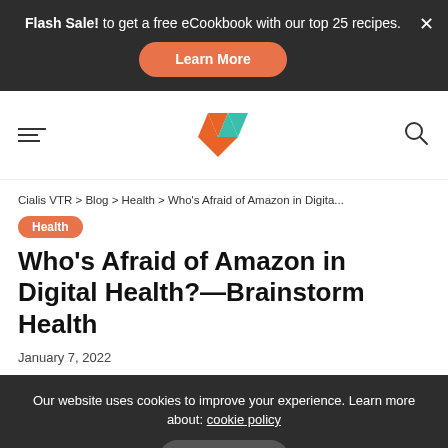Flash Sale! to get a free eCookbook with our top 25 recipes. Learn More
[Figure (logo): Stylized GV logo with orange and teal/green chevron shapes, and hamburger menu icon on left, search icon on right]
Cialis VTR > Blog > Health > Who's Afraid of Amazon in Digita...
Health
Who's Afraid of Amazon in Digital Health?—Brainstorm Health
January 7, 2022
Our website uses cookies to improve your experience. Learn more about: cookie policy  Accept